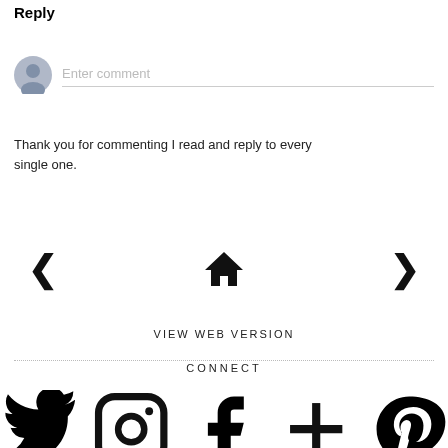Reply
[Figure (illustration): Comment input area with a circular user avatar on the left and an 'Enter comment' placeholder text field with a bottom border on the right]
Thank you for commenting I read and reply to every single one.
[Figure (illustration): Navigation icons: left chevron, home icon, right chevron]
VIEW WEB VERSION
CONNECT
[Figure (illustration): Social media icons: Twitter (bird), Instagram (camera), Facebook (f), Google+ (+), Pinterest (P)]